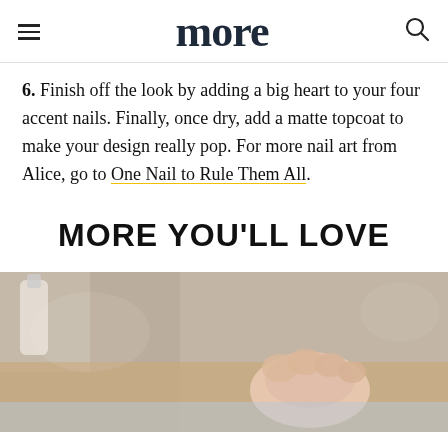more
6. Finish off the look by adding a big heart to your four accent nails. Finally, once dry, add a matte topcoat to make your design really pop. For more nail art from Alice, go to One Nail to Rule Them All.
MORE YOU'LL LOVE
[Figure (photo): Close-up photo of a hand against a blurred background with nail polish bottle visible]